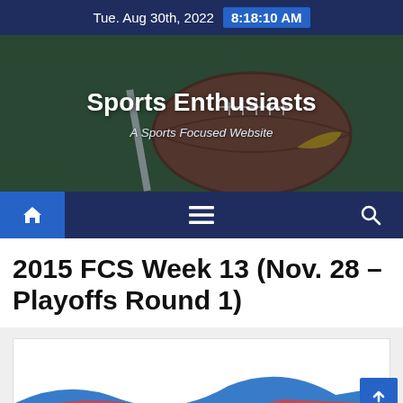Tue. Aug 30th, 2022  8:18:10 AM
[Figure (photo): Football on grass field with Nike logo, header image for Sports Enthusiasts website]
Sports Enthusiasts
A Sports Focused Website
[Figure (other): Navigation bar with home icon (blue background), hamburger menu icon, and search icon on dark navy background]
2015 FCS Week 13 (Nov. 28 – Playoffs Round 1)
[Figure (other): Partial content area with light gray background showing beginning of article content card with red and blue graphic elements, and a blue scroll-to-top button in the bottom right]